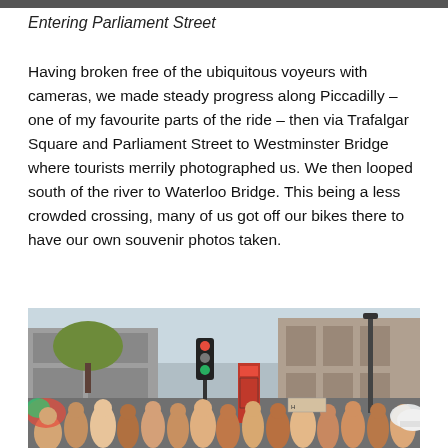[Figure (photo): Top edge of a photo, cropped — dark strip at the very top of the page]
Entering Parliament Street
Having broken free of the ubiquitous voyeurs with cameras, we made steady progress along Piccadilly – one of my favourite parts of the ride – then via Trafalgar Square and Parliament Street to Westminster Bridge where tourists merrily photographed us. We then looped south of the river to Waterloo Bridge. This being a less crowded crossing, many of us got off our bikes there to have our own souvenir photos taken.
[Figure (photo): Photograph of a large crowd of cyclists and pedestrians on Parliament Street in London, with classical stone buildings, a red telephone box, traffic lights, and a lamppost visible in the background. Many people appear to be participating in a naked bike ride event.]